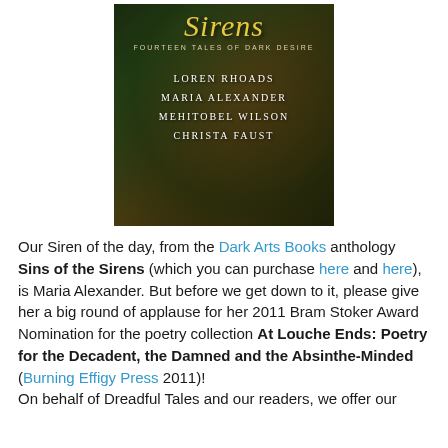[Figure (illustration): Book cover of 'Sins of the Sirens: Fourteen Tales of Dark Desire' by Loren Rhoads, Maria Alexander, Mehitobel Wilson, Christa Faust. Dark background with feathered/scaly creature imagery.]
Our Siren of the day, from the Dark Arts Books anthology Sins of the Sirens (which you can purchase here and here), is Maria Alexander. But before we get down to it, please give her a big round of applause for her 2011 Bram Stoker Award Nomination for the poetry collection At Louche Ends: Poetry for the Decadent, the Damned and the Absinthe-Minded (Burning Effigy Press 2011)! On behalf of Dreadful Tales and our readers, we offer our